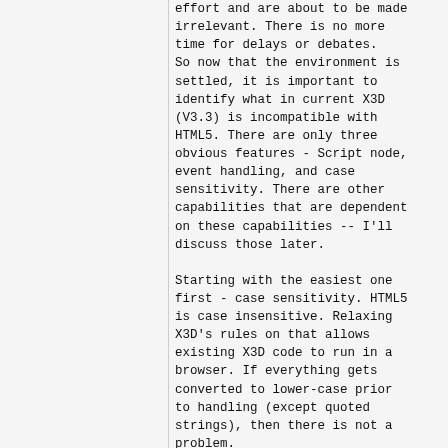effort and are about to be made irrelevant. There is no more time for delays or debates. So now that the environment is settled, it is important to identify what in current X3D (V3.3) is incompatible with HTML5. There are only three obvious features - Script node, event handling, and case sensitivity. There are other capabilities that are dependent on these capabilities -- I'll discuss those later.
Starting with the easiest one first - case sensitivity. HTML5 is case insensitive. Relaxing X3D's rules on that allows existing X3D code to run in a browser. If everything gets converted to lower-case prior to handling (except quoted strings), then there is not a problem.
There is an obvious naming incompatibility with Script -- the name. HTML5 is already using that name. Under my initial condition there cannot be an X3D Script node. That does not mean all scripting